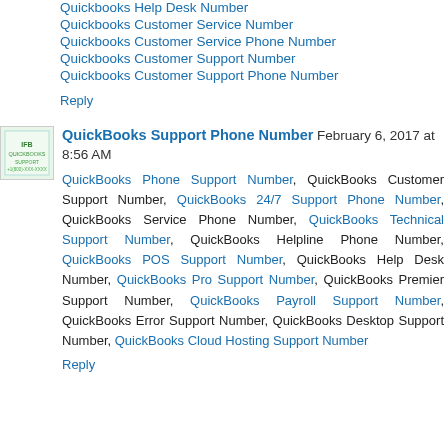Quickbooks Help Desk Number
Quickbooks Customer Service Number
Quickbooks Customer Service Phone Number
Quickbooks Customer Support Number
Quickbooks Customer Support Phone Number
Reply
QuickBooks Support Phone Number  February 6, 2017 at 8:56 AM
QuickBooks Phone Support Number, QuickBooks Customer Support Number, QuickBooks 24/7 Support Phone Number, QuickBooks Service Phone Number, QuickBooks Technical Support Number, QuickBooks Helpline Phone Number, QuickBooks POS Support Number, QuickBooks Help Desk Number, QuickBooks Pro Support Number, QuickBooks Premier Support Number, QuickBooks Payroll Support Number, QuickBooks Error Support Number, QuickBooks Desktop Support Number, QuickBooks Cloud Hosting Support Number
Reply